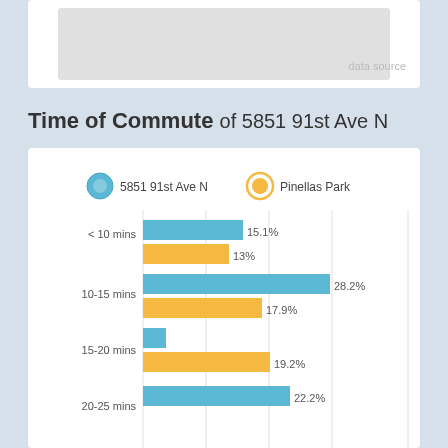data source
Time of Commute of 5851 91st Ave N
[Figure (grouped-bar-chart): Time of Commute of 5851 91st Ave N]